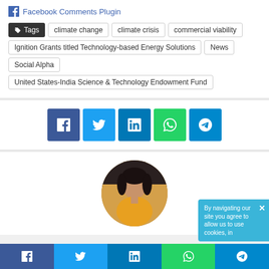Facebook Comments Plugin
Tags: climate change | climate crisis | commercial viability | Ignition Grants titled Technology-based Energy Solutions | News | Social Alpha | United States-India Science & Technology Endowment Fund
[Figure (screenshot): Social share buttons: Facebook, Twitter, LinkedIn, WhatsApp, Telegram]
[Figure (photo): Circular profile photo of a woman in a yellow outfit]
By navigating our site you agree to allow us to use cookies, in
[Figure (screenshot): Bottom social share bar: Facebook, Twitter, LinkedIn, WhatsApp, Telegram]